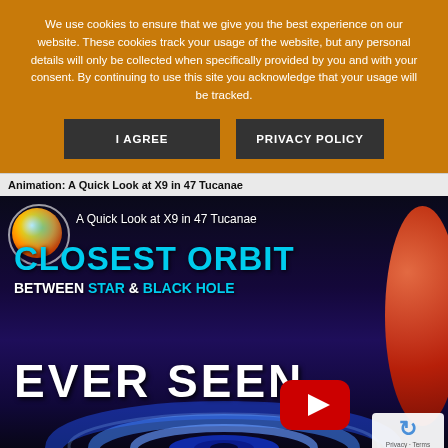We use cookies to ensure that we give you the best experience on our website. These cookies track your usage of the website, but any personal details will only be collected when specifically provided by you and with your consent. By continuing to use this site you acknowledge that your usage will be tracked.
I AGREE
PRIVACY POLICY
Animation: A Quick Look at X9 in 47 Tucanae
[Figure (screenshot): YouTube video thumbnail showing 'A Quick Look at X9 in 47 Tucanae' with text overlays: 'CLOSEST ORBIT' in cyan, 'BETWEEN STAR & BLACK HOLE' in white and cyan, 'EVER SEEN' in white. A red planet on the right, a colorful star globe top-left, an accretion disk in blue/purple at the bottom, and a YouTube play button. A reCAPTCHA Privacy-Terms badge appears in the bottom-right corner.]